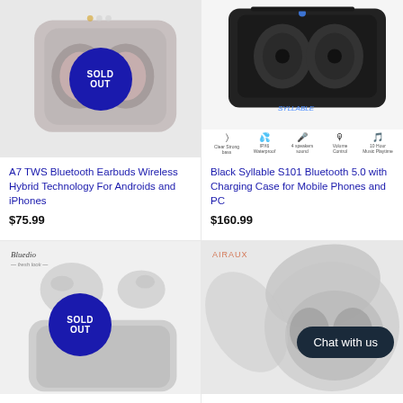[Figure (photo): A7 TWS Bluetooth Earbuds in charging case with SOLD OUT badge overlay]
A7 TWS Bluetooth Earbuds Wireless Hybrid Technology For Androids and iPhones
$75.99
[Figure (photo): Black Syllable S101 Bluetooth earbuds in charging case with feature icons below]
Black Syllable S101 Bluetooth 5.0 with Charging Case for Mobile Phones and PC
$160.99
[Figure (photo): Bluedio earbuds with SOLD OUT badge, brand label visible]
[Figure (photo): AirAux earbuds in case with Chat with us button overlay]